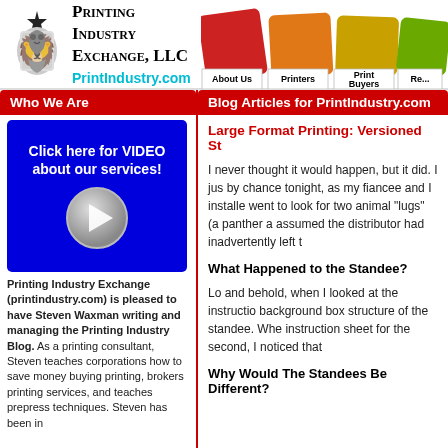[Figure (logo): Printing Industry Exchange LLC lion crest logo with star]
Printing Industry Exchange, LLC
PrintIndustry.com
[Figure (illustration): Navigation color cards (red, orange, yellow, green) with tabs: About Us, Printers, Print Buyers, Resources]
Who We Are
[Figure (screenshot): Blue box with text 'Click here for VIDEO about our services!' and a play button circle]
Printing Industry Exchange (printindustry.com) is pleased to have Steven Waxman writing and managing the Printing Industry Blog. As a printing consultant, Steven teaches corporations how to save money buying printing, brokers printing services, and teaches prepress techniques. Steven has been in
Blog Articles for PrintIndustry.com
Large Format Printing: Versioned St
I never thought it would happen, but it did. I just by chance tonight, as my fiancee and I installed went to look for two animal "lugs" (a panther a assumed the distributor had inadvertently left t
What Happened to the Standee?
Lo and behold, when I looked at the instruction background box structure of the standee. Whe instruction sheet for the second, I noticed that
Why Would The Standees Be Different?